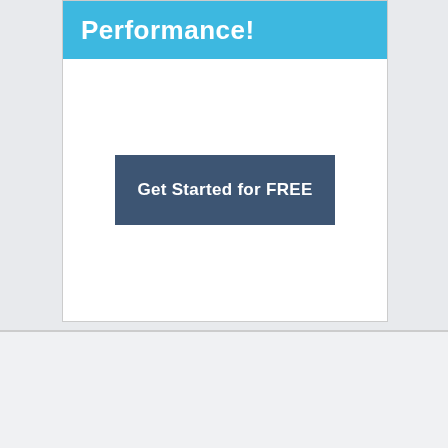[Figure (screenshot): A card UI element with a light blue header showing partial text 'Performance!' and a white body containing a dark blue-gray button labeled 'Get Started for FREE']
[Figure (logo): COINMAMA logo in bold red/crimson uppercase letters, followed by a small Coinmama logo icon and sign up/login buttons at the bottom]